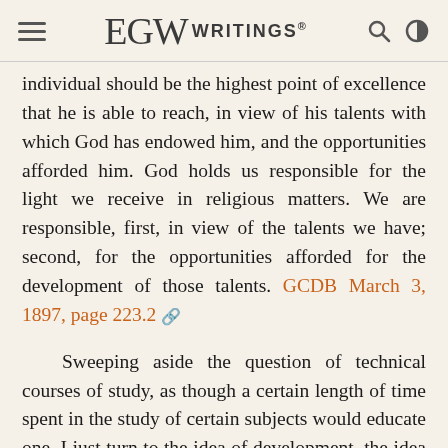EGW WRITINGS®
individual should be the highest point of excellence that he is able to reach, in view of his talents with which God has endowed him, and the opportunities afforded him. God holds us responsible for the light we receive in religious matters. We are responsible, first, in view of the talents we have; second, for the opportunities afforded for the development of those talents. GCDB March 3, 1897, page 223.2
Sweeping aside the question of technical courses of study, as though a certain length of time spent in the study of certain subjects would educate one, I just turn to the idea of development, the idea of bringing to each individual the remedy that he needs, presented to him in such a way that he can avail himself of it in developing, building up; and if